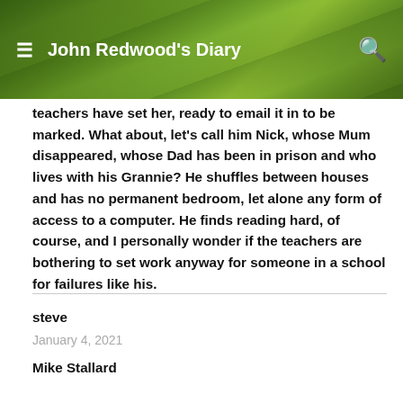John Redwood's Diary
teachers have set her, ready to email it in to be marked. What about, let's call him Nick, whose Mum disappeared, whose Dad has been in prison and who lives with his Grannie? He shuffles between houses and has no permanent bedroom, let alone any form of access to a computer. He finds reading hard, of course, and I personally wonder if the teachers are bothering to set work anyway for someone in a school for failures like his.
steve
January 4, 2021
Mike Stallard